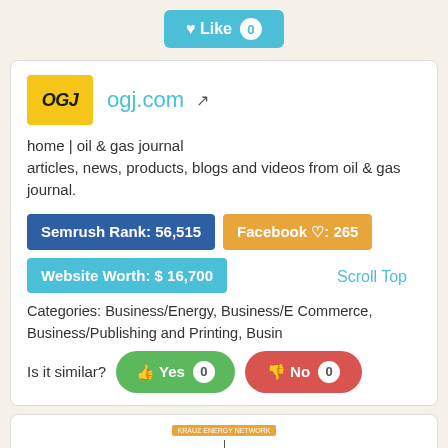[Figure (other): Like button with heart icon and count 0, styled in teal/cyan color]
[Figure (logo): OGJ logo in yellow square with black italic bold text]
ogj.com with external link icon
home | oil & gas journal articles, news, products, blogs and videos from oil & gas journal.
Semrush Rank: 56,515
Facebook ♡: 265
Website Worth: $ 16,700
Categories: Business/Energy, Business/E Commerce, Business/Publishing and Printing, Busin
Scroll Top
Is it similar?
Yes 0
No 0
[Figure (other): Partial chart stub at bottom of page, showing orange label and vertical line indicator]